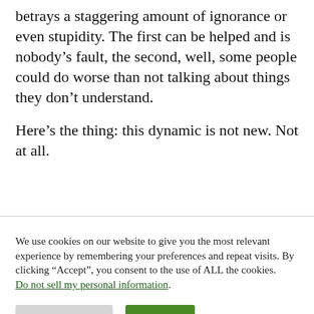betrays a staggering amount of ignorance or even stupidity. The first can be helped and is nobody’s fault, the second, well, some people could do worse than not talking about things they don’t understand.
Here’s the thing: this dynamic is not new. Not at all.
We use cookies on our website to give you the most relevant experience by remembering your preferences and repeat visits. By clicking “Accept”, you consent to the use of ALL the cookies. Do not sell my personal information.
Cookie Settings
Accept